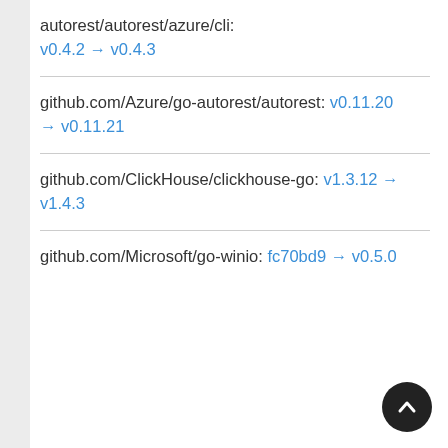autorest/autorest/azure/cli: v0.4.2 → v0.4.3
github.com/Azure/go-autorest/autorest: v0.11.20 → v0.11.21
github.com/ClickHouse/clickhouse-go: v1.3.12 → v1.4.3
github.com/Microsoft/go-winio: fc70bd9 → v0.5.0